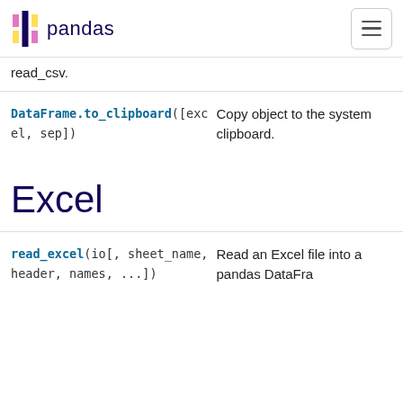pandas
read_csv.
| Method | Description |
| --- | --- |
| DataFrame.to_clipboard([excel, sep]) | Copy object to the system clipboard. |
| read_excel(io[, sheet_name, header, names, ...]) | Read an Excel file into a pandas DataFrame |
Excel